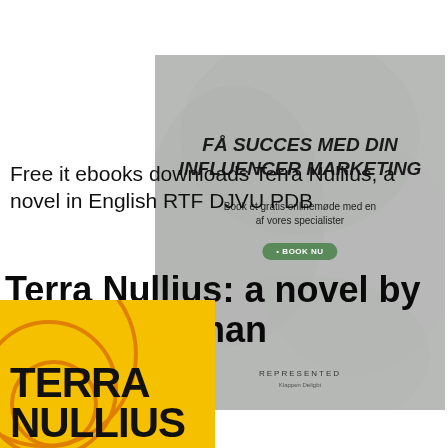[Figure (screenshot): Gray advertisement card for 'FÅ SUCCES MED DIN INFLUENCER MARKETING' featuring smoke texture background, subtitle text 'Book et gratis onlinemøde med en af vores specialister', a green 'BOOK NU' button, and 'REPRESENTED' branding at bottom]
Free it ebooks downloads Terra Nullius, a novel in English RTF DJVU PDB
Terra Nullius: a novel by Claire Coleman
[Figure (photo): Book cover of Terra Nullius with yellow/orange background, large bold black text 'TERRA NULLLIUS', with orange circular ring design elements]